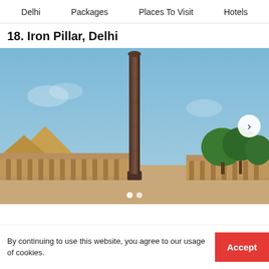Delhi   Packages   Places To Visit   Hotels
18. Iron Pillar, Delhi
[Figure (photo): Photograph of the Iron Pillar at Qutb Minar complex in Delhi, showing a tall dark iron/rust-colored pillar rising against a clear blue sky, with ancient sandstone colonnaded structures visible in the background and green trees on the right side.]
By continuing to use this website, you agree to our usage of cookies.